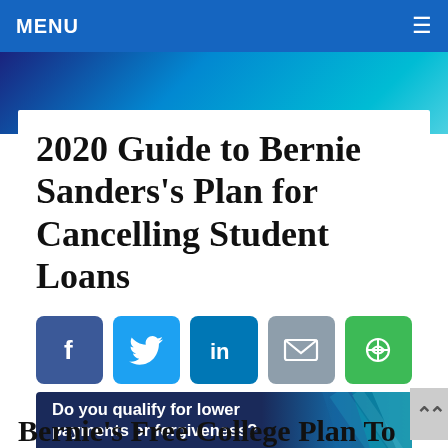MENU
2020 Guide to Bernie Sanders’s Plan for Cancelling Student Loans
[Figure (infographic): Social share buttons: Facebook, Twitter, LinkedIn, Email, Save]
[Figure (infographic): Ad banner: Do you qualify for lower payments or forgiveness? Call the Student Loan Relief Helpline: 1-888-906-3065]
Bernie’s Free College Plan To